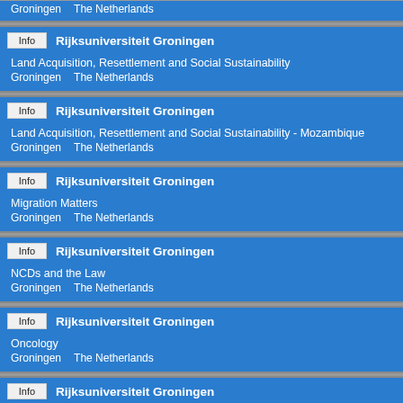Groningen    The Netherlands
Info  Rijksuniversiteit Groningen
Land Acquisition, Resettlement and Social Sustainability
Groningen    The Netherlands
Info  Rijksuniversiteit Groningen
Land Acquisition, Resettlement and Social Sustainability - Mozambique
Groningen    The Netherlands
Info  Rijksuniversiteit Groningen
Migration Matters
Groningen    The Netherlands
Info  Rijksuniversiteit Groningen
NCDs and the Law
Groningen    The Netherlands
Info  Rijksuniversiteit Groningen
Oncology
Groningen    The Netherlands
Info  Rijksuniversiteit Groningen